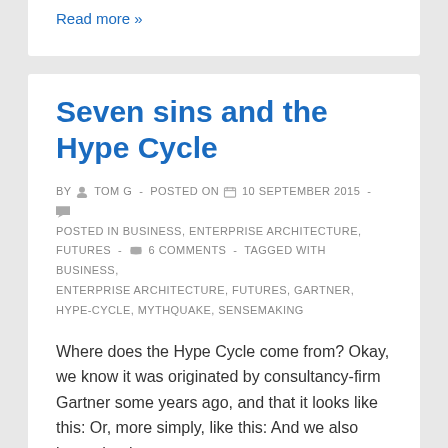Read more »
Seven sins and the Hype Cycle
BY TOM G - POSTED ON 10 SEPTEMBER 2015 - POSTED IN BUSINESS, ENTERPRISE ARCHITECTURE, FUTURES - 6 COMMENTS - TAGGED WITH BUSINESS, ENTERPRISE ARCHITECTURE, FUTURES, GARTNER, HYPE-CYCLE, MYTHQUAKE, SENSEMAKING
Where does the Hype Cycle come from? Okay, we know it was originated by consultancy-firm Gartner some years ago, and that it looks like this: Or, more simply, like this: And we also know that it